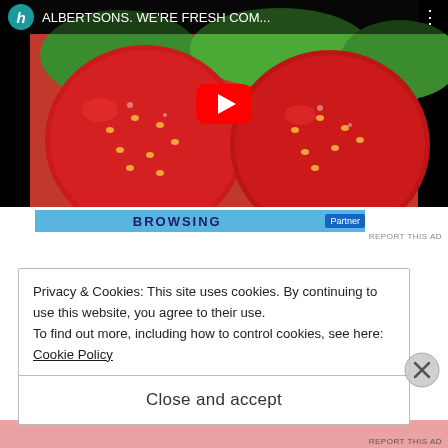[Figure (screenshot): YouTube video thumbnail showing strawberries with play button. Title bar shows 'h ALBERTSONS. WE'RE FRESH COM...' with three-dot menu icon.]
[Figure (screenshot): Advertisement banner with blue background showing 'BROWSING' text in bold dark letters and a partner button on the right. 'REPORT THIS AD' text below.]
Privacy & Cookies: This site uses cookies. By continuing to use this website, you agree to their use.
To find out more, including how to control cookies, see here:
Cookie Policy
Close and accept